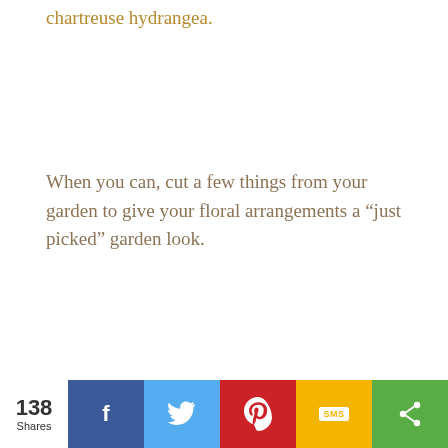chartreuse hydrangea.
When you can, cut a few things from your garden to give your floral arrangements a “just picked” garden look.
138 Shares | Facebook | Twitter | Pinterest | SMS | Share